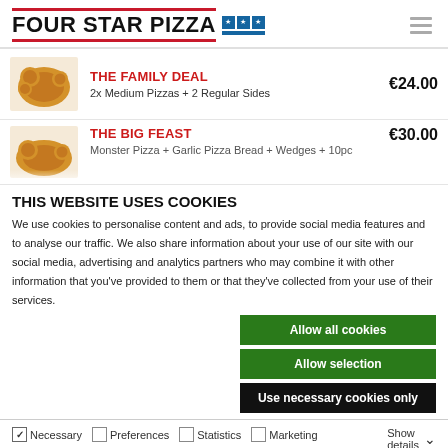[Figure (logo): Four Star Pizza logo with red border stripes, black uppercase text, and blue star box icon]
THE FAMILY DEAL  €24.00
2x Medium Pizzas + 2 Regular Sides
THE BIG FEAST  €30.00
Monster Pizza + Garlic Pizza Bread + Wedges + 10pc
THIS WEBSITE USES COOKIES
We use cookies to personalise content and ads, to provide social media features and to analyse our traffic. We also share information about your use of our site with our social media, advertising and analytics partners who may combine it with other information that you've provided to them or that they've collected from your use of their services.
Allow all cookies
Allow selection
Use necessary cookies only
Necessary  Preferences  Statistics  Marketing  Show details